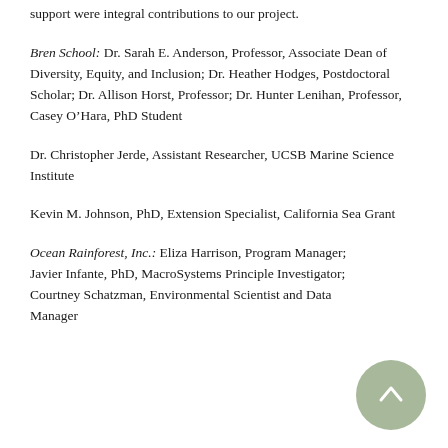support were integral contributions to our project.
Bren School: Dr. Sarah E. Anderson, Professor, Associate Dean of Diversity, Equity, and Inclusion; Dr. Heather Hodges, Postdoctoral Scholar; Dr. Allison Horst, Professor; Dr. Hunter Lenihan, Professor, Casey O’Hara, PhD Student
Dr. Christopher Jerde, Assistant Researcher, UCSB Marine Science Institute
Kevin M. Johnson, PhD, Extension Specialist, California Sea Grant
Ocean Rainforest, Inc.: Eliza Harrison, Program Manager; Javier Infante, PhD, MacroSystems Principle Investigator; Courtney Schatzman, Environmental Scientist and Data Manager